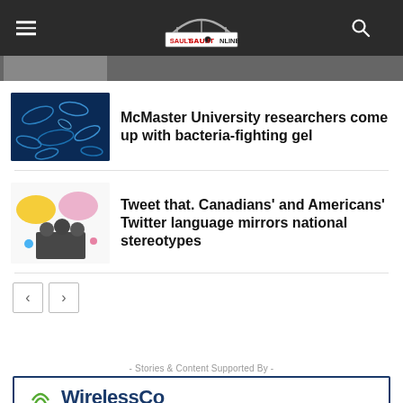SaultOnline
[Figure (photo): Partial image strip at top]
[Figure (photo): Thumbnail image of bacteria (blue microscope image)]
McMaster University researchers come up with bacteria-fighting gel
[Figure (photo): Thumbnail image of people with thought bubbles and Twitter birds]
Tweet that. Canadians' and Americans' Twitter language mirrors national stereotypes
- Stories & Content Supported By -
[Figure (logo): WirelessCom Co logo with partial text visible]